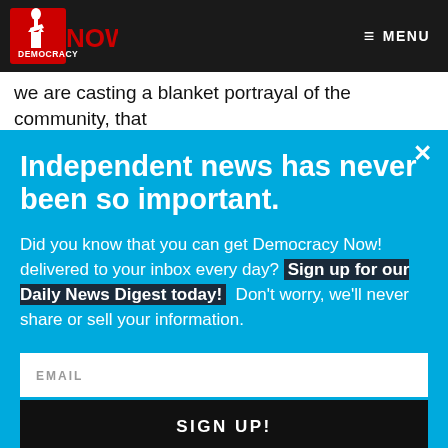[Figure (logo): Democracy Now! logo — red torch/statue figure with red text on dark background]
MENU
we are casting a blanket portrayal of the community, that they're all anti-Communist extremists and terrorists. An
Independent news has never been so important.
Did you know that you can get Democracy Now! delivered to your inbox every day? Sign up for our Daily News Digest today! Don't worry, we'll never share or sell your information.
EMAIL
SIGN UP!